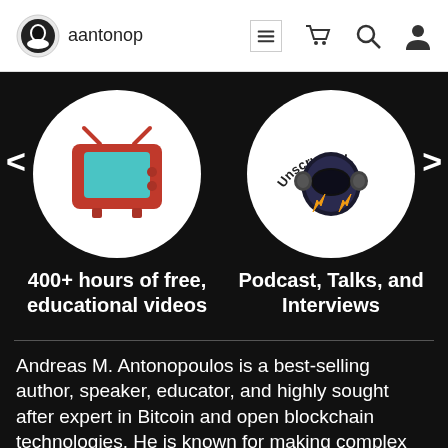aantonop
[Figure (illustration): Carousel showing two circular icons: left circle has a red retro TV with teal screen, right circle has the 'Unscrypted' podcast logo with a robot/helmet figure and orange lightning bolts. Left and right navigation arrows flank the circles.]
400+ hours of free, educational videos
Podcast, Talks, and Interviews
Andreas M. Antonopoulos is a best-selling author, speaker, educator, and highly sought after expert in Bitcoin and open blockchain technologies. He is known for making complex subjects easy to